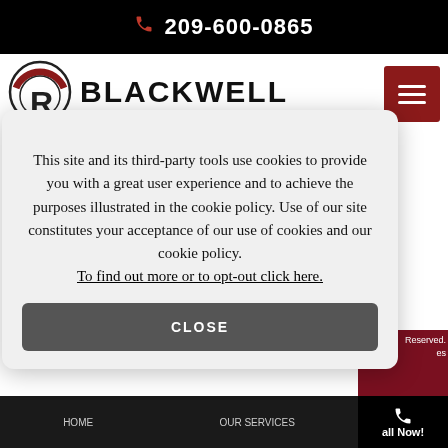209-600-0865
[Figure (logo): Blackwell company logo with circular R emblem and BLACKWELL text]
This site and its third-party tools use cookies to provide you with a great user experience and to achieve the purposes illustrated in the cookie policy. Use of our site constitutes your acceptance of our use of cookies and our cookie policy. To find out more or to opt-out click here.
CLOSE